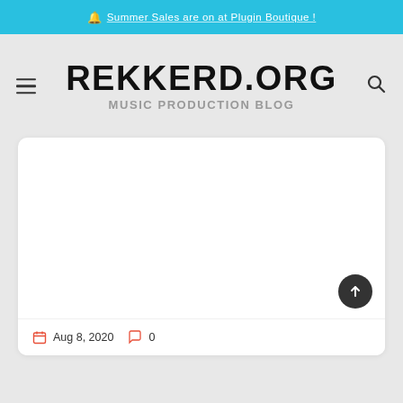🔔 Summer Sales are on at Plugin Boutique!
REKKERD.ORG
MUSIC PRODUCTION BLOG
[Figure (screenshot): White card/article preview area, blank content]
Aug 8, 2020   0